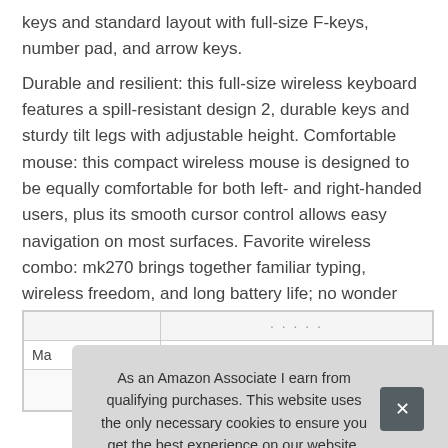keys and standard layout with full-size F-keys, number pad, and arrow keys.
Durable and resilient: this full-size wireless keyboard features a spill-resistant design 2, durable keys and sturdy tilt legs with adjustable height. Comfortable mouse: this compact wireless mouse is designed to be equally comfortable for both left- and right-handed users, plus its smooth cursor control allows easy navigation on most surfaces. Favorite wireless combo: mk270 brings together familiar typing, wireless freedom, and long battery life; no wonder this is the world's top-selling combo4.
|  | ... |
| --- | --- |
| Ma |  |
As an Amazon Associate I earn from qualifying purchases. This website uses the only necessary cookies to ensure you get the best experience on our website. More information